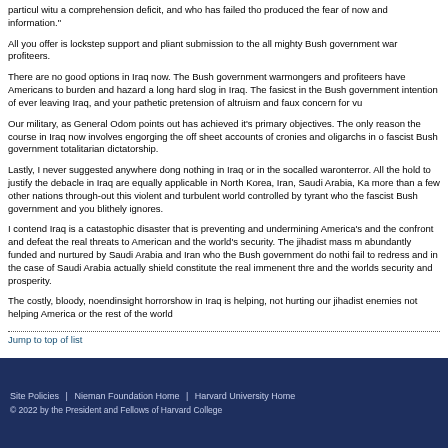particul witu a comprehension deficit, and who has failed tho produced the fear of now and information."
All you offer is lockstep support and pliant submission to the all mighty Bush government war profiteers.
There are no good options in Iraq now. The Bush government warmongers and profiteers have Americans to burden and hazard a long hard slog in Iraq. The fasicst in the Bush government intention of ever leaving Iraq, and your pathetic pretension of altruism and faux concern for vu
Our military, as General Odom points out has achieved it's primary objectives. The only reason the course in Iraq now involves engorging the off sheet accounts of cronies and oligarchs in o fascist Bush government totalitarian dictatorship.
Lastly, I never suggested anywhere dong nothing in Iraq or in the socalled waronterror. All the hold to justify the debacle in Iraq are equally applicable in North Korea, Iran, Saudi Arabia, Ka more than a few other nations through-out this violent and turbulent world controlled by tyrant who the fascist Bush government and you blithely ignores.
I contend Iraq is a catastophic disaster that is preventing and undermining America's and the confront and defeat the real threats to American and the world's security. The jihadist mass m abundantly funded and nurtured by Saudi Arabia and Iran who the Bush government do nothi fail to redress and in the case of Saudi Arabia actually shield constitute the real immenent thre and the worlds security and prosperity.
The costly, bloody, noendinsight horrorshow in Iraq is helping, not hurting our jihadist enemies not helping America or the rest of the world
Jump to top of list
Site Policies  |  Nieman Foundation Home  |  Harvard University Home
© 2022 by the President and Fellows of Harvard College